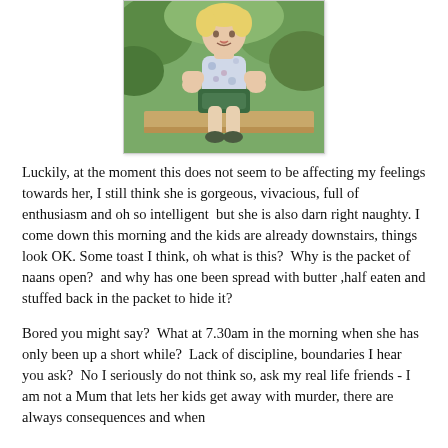[Figure (photo): A young blonde toddler girl playing outdoors, wearing a floral shirt, holding a toy, with green foliage in the background.]
Luckily, at the moment this does not seem to be affecting my feelings towards her, I still think she is gorgeous, vivacious, full of enthusiasm and oh so intelligent  but she is also darn right naughty. I come down this morning and the kids are already downstairs, things look OK. Some toast I think, oh what is this?  Why is the packet of naans open?  and why has one been spread with butter ,half eaten and stuffed back in the packet to hide it?
Bored you might say?  What at 7.30am in the morning when she has only been up a short while?  Lack of discipline, boundaries I hear you ask?  No I seriously do not think so, ask my real life friends - I am not a Mum that lets her kids get away with murder, there are always consequences and when